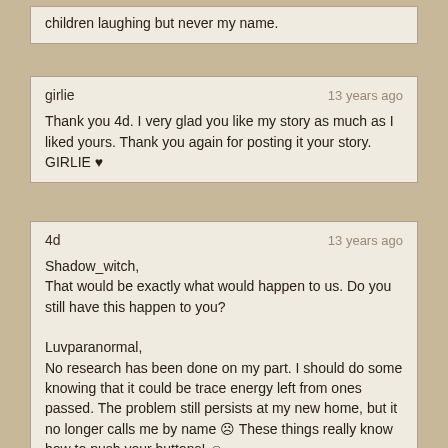children laughing but never my name.
girlie
13 years ago

Thank you 4d. I very glad you like my story as much as I liked yours. Thank you again for posting it your story.
GIRLIE ♥
4d
13 years ago

Shadow_witch,
That would be exactly what would happen to us. Do you still have this happen to you?

Luvparanormal,
No research has been done on my part. I should do some knowing that it could be trace energy left from ones passed. The problem still persists at my new home, but it no longer calls me by name ☹ These things really know how to push your buttons! 😊

HIVE_Mind_Confused,
That is real creepy! My wife heard me call to her the other night